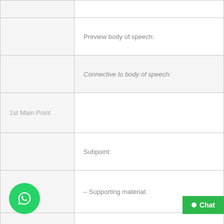|  |  |
| --- | --- |
|  |  |
|  | Preview body of speech: |
|  | Connective to body of speech: |
| 1st Main Point |  |
|  | Subpoint: |
|  | – Supporting material: |
|  | Subpoint: |